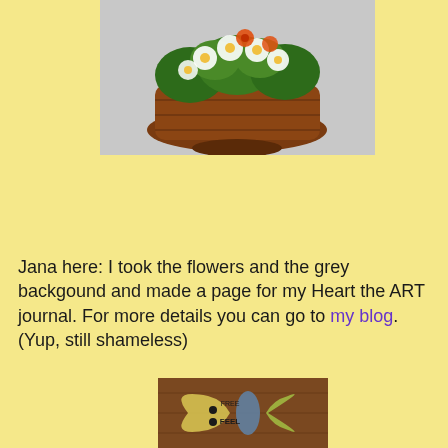[Figure (photo): A wicker basket filled with white and orange daffodil flowers and green foliage, set against a light grey background.]
Jana here: I took the flowers and the grey backgound and made a page for my Heart the ART journal. For more details you can go to my blog. (Yup, still shameless)
[Figure (photo): A decorative butterfly-shaped ornament with colorful mosaic or painted design featuring text, placed on a wooden surface.]